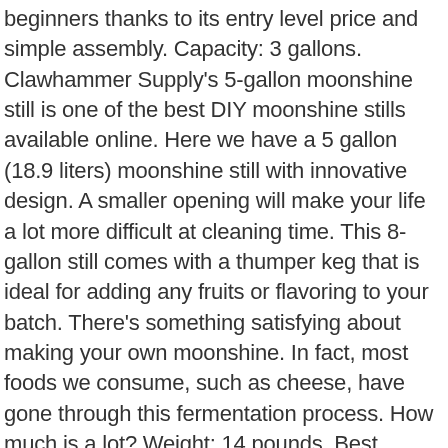beginners thanks to its entry level price and simple assembly. Capacity: 3 gallons. Clawhammer Supply's 5-gallon moonshine still is one of the best DIY moonshine stills available online. Here we have a 5 gallon (18.9 liters) moonshine still with innovative design. A smaller opening will make your life a lot more difficult at cleaning time. This 8-gallon still comes with a thumper keg that is ideal for adding any fruits or flavoring to your batch. There's something satisfying about making your own moonshine. In fact, most foods we consume, such as cheese, have gone through this fermentation process. How much is a lot? Weight: 14 pounds. Best Moonshine Still for Beginner. It's not just about looks though. Don't worry though, we have a home still kit for every price range and distilling location! By this point, you may just want to make a purchase and get distilling. It can be used to distill alcohol, water, wine and fruit. The process seems easy enough, but you should be prepared when it comes to shopping for one of the moonshine stills for sale. Choosing the best